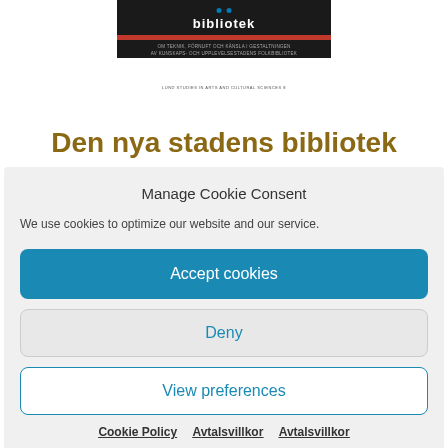[Figure (illustration): Book cover of 'Den nya stadens bibliotek' with dark background, red bar, subtitle text in Swedish, and series label on white section]
Den nya stadens bibliotek
Manage Cookie Consent
We use cookies to optimize our website and our service.
Accept cookies
Deny
View preferences
Cookie Policy   Avtalsvillkor   Avtalsvillkor